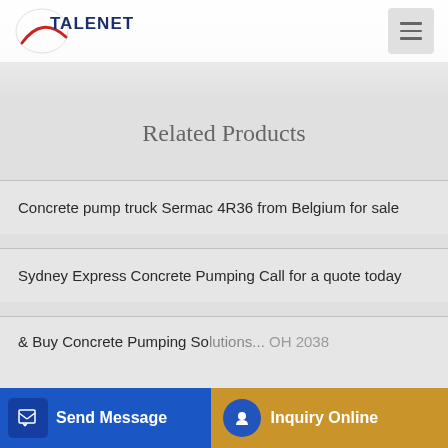TALENET
Related Products
Concrete pump truck Sermac 4R36 from Belgium for sale
Sydney Express Concrete Pumping Call for a quote today
& Buy Concrete Pumping So... OH 2038 (partial)
Send Message | Inquiry Online